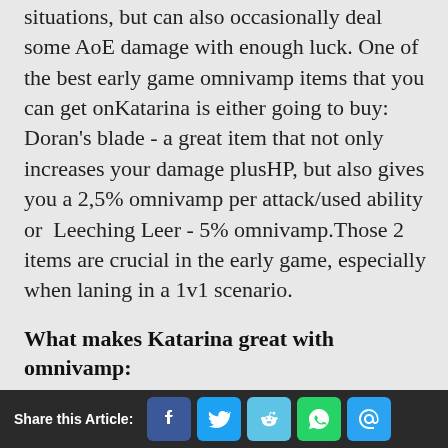situations, but can also occasionally deal some AoE damage with enough luck. One of the best early game omnivamp items that you can get onKatarina is either going to buy: Doran's blade - a great item that not only increases your damage plusHP, but also gives you a 2,5% omnivamp per attack/used ability or  Leeching Leer - 5% omnivamp.Those 2 items are crucial in the early game, especially when laning in a 1v1 scenario.
What makes Katarina great with omnivamp:
Share this Article: